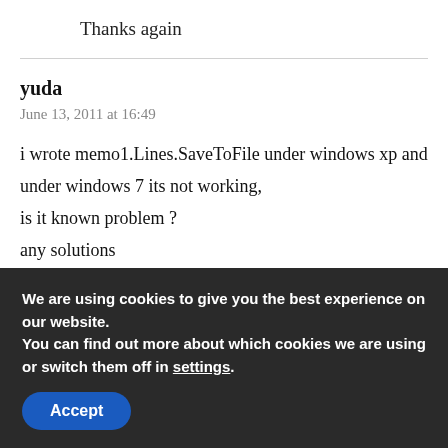Thanks again
yuda
June 13, 2011 at 16:49
i wrote memo1.Lines.SaveToFile under windows xp and under windows 7 its not working,
is it known problem ?
any solutions
We are using cookies to give you the best experience on our website.
You can find out more about which cookies we are using or switch them off in settings.
Accept